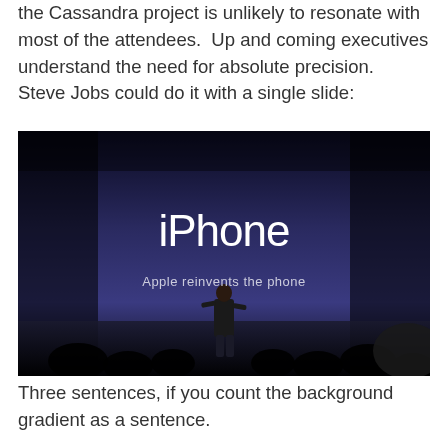the Cassandra project is unlikely to resonate with most of the attendees.  Up and coming executives understand the need for absolute precision.  Steve Jobs could do it with a single slide:
[Figure (photo): Steve Jobs on stage presenting the iPhone. Large white 'iPhone' text in the center of a dark blue-gradient slide. Below reads 'Apple reinvents the phone'. A silhouetted audience and Steve Jobs standing center stage.]
Three sentences, if you count the background gradient as a sentence.